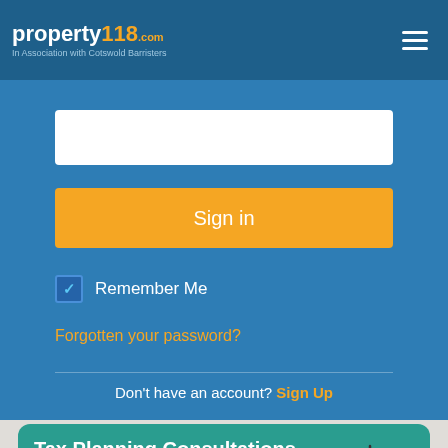property118.com — In Association with Cotswold Barristers
[Figure (screenshot): Password input field (empty white text box)]
Sign in
Remember Me
Forgotten your password?
Don't have an account? Sign Up
Tax Planning Consultations
In association with Cotswold Barristers